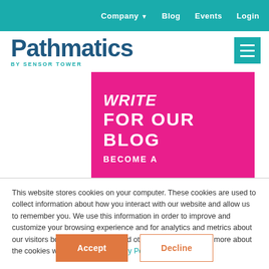Company  Blog  Events  Login
Pathmatics BY SENSOR TOWER
[Figure (screenshot): Magenta/pink blog promotional graphic with bold white text reading 'WRITE FOR OUR BLOG BECOME A...']
This website stores cookies on your computer. These cookies are used to collect information about how you interact with our website and allow us to remember you. We use this information in order to improve and customize your browsing experience and for analytics and metrics about our visitors both on this website and other media. To find out more about the cookies we use, see our Privacy Policy.
Accept
Decline